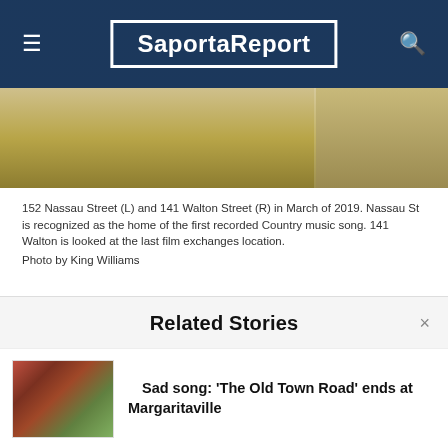SaportaReport
[Figure (photo): Aerial/street view photo of Nassau Street area, partially visible behind header]
152 Nassau Street (L) and 141 Walton Street (R) in March of 2019. Nassau St is recognized as the home of the first recorded Country music song. 141 Walton is looked at the last film exchanges location.
Photo by King Williams
Thursday, Aug. 8, the demolition of 152 Nassau Street has ceased thanks to Fulton County Superior Court Judge Ellen LaGura who ordered developers to stop demolition until an Aug. 29
Related Stories
Sad song: 'The Old Town Road' ends at Margaritaville